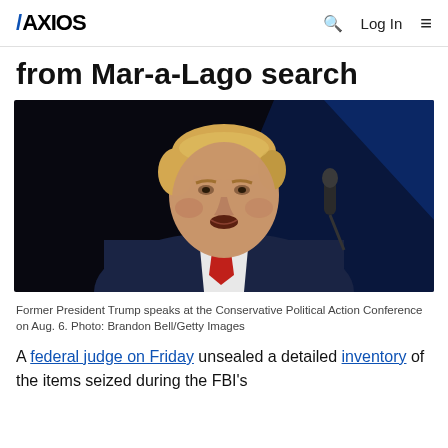AXIOS | Q | Log In | ≡
from Mar-a-Lago search
[Figure (photo): Former President Trump speaking at a podium with a microphone, wearing a navy blue suit and red tie, photographed against a dark background with blue lighting at the Conservative Political Action Conference on Aug. 6.]
Former President Trump speaks at the Conservative Political Action Conference on Aug. 6. Photo: Brandon Bell/Getty Images
A federal judge on Friday unsealed a detailed inventory of the items seized during the FBI's